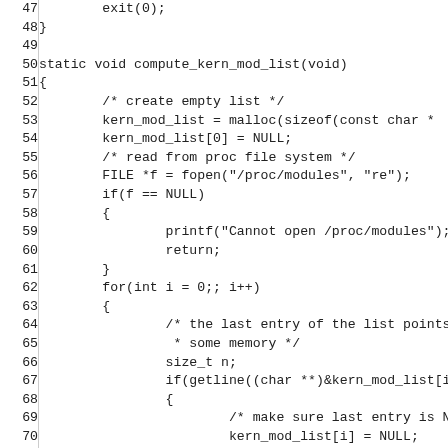C source code listing, lines 47-76, showing compute_kern_mod_list function